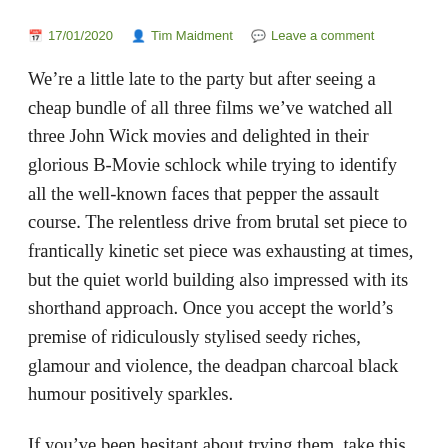17/01/2020  Tim Maidment  Leave a comment
We’re a little late to the party but after seeing a cheap bundle of all three films we’ve watched all three John Wick movies and delighted in their glorious B-Movie schlock while trying to identify all the well-known faces that pepper the assault course. The relentless drive from brutal set piece to frantically kinetic set piece was exhausting at times, but the quiet world building also impressed with its shorthand approach. Once you accept the world’s premise of ridiculously stylised seedy riches, glamour and violence, the deadpan charcoal black humour positively sparkles.
If you’ve been hesitant about trying them, take this as the nudge off the sidewalk you were waiting for.